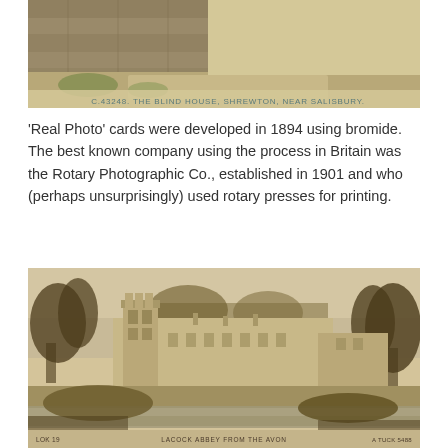[Figure (photo): Vintage postcard showing a stone building (The Blind House, Shrewton, near Salisbury) with text caption 'C.43248. THE BLIND HOUSE, SHREWTON, NEAR SALISBURY.' at the bottom right of the image.]
'Real Photo' cards were developed in 1894 using bromide. The best known company using the process in Britain was the Rotary Photographic Co., established in 1901 and who (perhaps unsurprisingly) used rotary presses for printing.
[Figure (photo): Vintage sepia-toned postcard photograph of Lacock Abbey from the Avon, showing a large historic manor/abbey building viewed across a field with trees, with caption text at the bottom reading 'LOK 19   LACOCK ABBEY FROM THE AVON   A TUCK 5488'.]